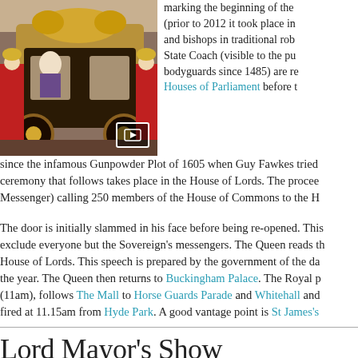[Figure (photo): Queen Elizabeth II in the gold State Coach during the State Opening of Parliament procession, with royal guards and ornate golden decorations visible]
marking the beginning of the (prior to 2012 it took place in and bishops in traditional rob State Coach (visible to the pu bodyguards since 1485) are re Houses of Parliament before t since the infamous Gunpowder Plot of 1605 when Guy Fawkes tried ceremony that follows takes place in the House of Lords. The procee Messenger) calling 250 members of the House of Commons to the H
The door is initially slammed in his face before being re-opened. This exclude everyone but the Sovereign's messengers. The Queen reads th House of Lords. This speech is prepared by the government of the da the year. The Queen then returns to Buckingham Palace. The Royal p (11am), follows The Mall to Horse Guards Parade and Whitehall and fired at 11.15am from Hyde Park. A good vantage point is St James's
Lord Mayor's Show
River barges are piled high with explosives in this annual parade